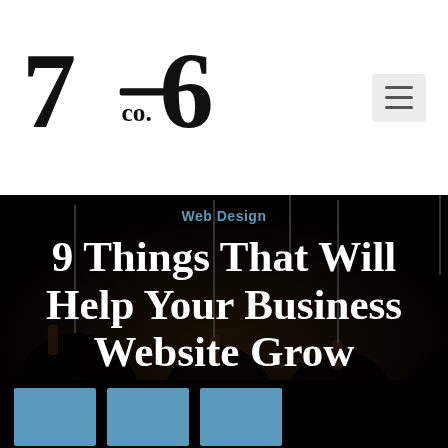[Figure (logo): 716 Co. logo in black serif/display typeface]
[Figure (other): Hamburger menu icon (three horizontal lines) on light grey background]
[Figure (photo): Dark moody photo of vintage Edison-style incandescent light bulbs hanging against a black background]
Web Design
9 Things That Will Help Your Business Website Grow
[Figure (other): Three blue squares in a row at bottom left]